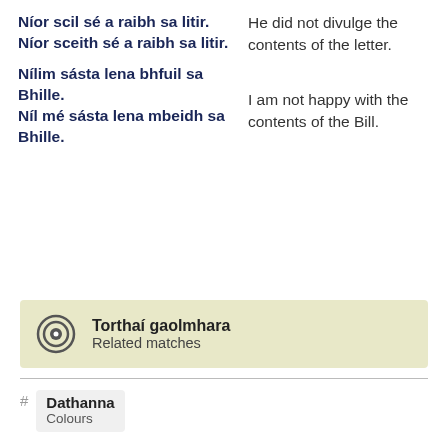Níor scil sé a raibh sa litir.
Níor sceith sé a raibh sa litir.
He did not divulge the contents of the letter.
Nílim sásta lena bhfuil sa Bhille.
Níl mé sásta lena mbeidh sa Bhille.
I am not happy with the contents of the Bill.
Torthaí gaolmhara
Related matches
Dathanna
Colours